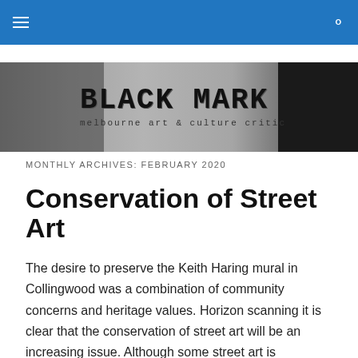Navigation bar with hamburger menu and search icon
[Figure (illustration): Black Mark — melbourne art & culture critic banner with grunge aesthetic, silhouette of a head on left, dark textured background]
MONTHLY ARCHIVES: FEBRUARY 2020
Conservation of Street Art
The desire to preserve the Keith Haring mural in Collingwood was a combination of community concerns and heritage values. Horizon scanning it is clear that the conservation of street art will be an increasing issue. Although some street art is ephemeral other murals are considered permanent and people would grieve their loss.